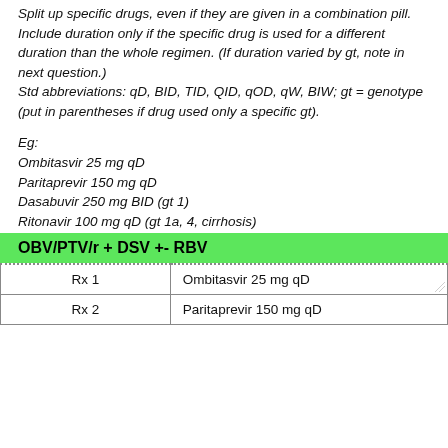Split up specific drugs, even if they are given in a combination pill.
Include duration only if the specific drug is used for a different duration than the whole regimen. (If duration varied by gt, note in next question.)
Std abbreviations: qD, BID, TID, QID, qOD, qW, BIW; gt = genotype (put in parentheses if drug used only a specific gt).
Eg:
Ombitasvir 25 mg qD
Paritaprevir 150 mg qD
Dasabuvir 250 mg BID (gt 1)
Ritonavir 100 mg qD (gt 1a, 4, cirrhosis)
OBV/PTV/r + DSV +- RBV
|  |  |
| --- | --- |
| Rx 1 | Ombitasvir 25 mg qD |
| Rx 2 | Paritaprevir 150 mg qD |